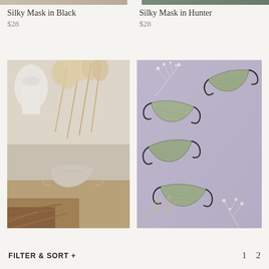[Figure (photo): Partial top of product images cropped at top of page - left beige/tan tones, right dark green tones]
Silky Mask in Black
$28
Silky Mask in Hunter
$28
[Figure (photo): Cream/beige silky face mask laid flat on marble surface with pampas grass and white ceramic vase in background]
[Figure (photo): Four green textured face masks with black elastic bands arranged on lavender/purple background with dried white floral sprigs]
FILTER & SORT +
1  2